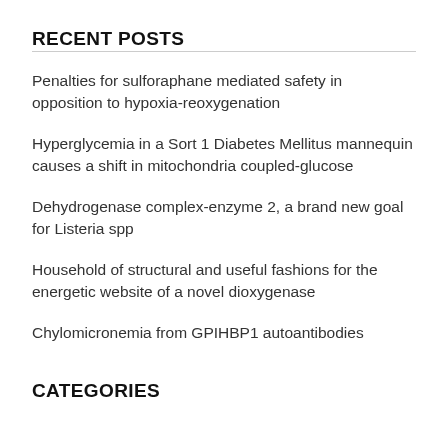RECENT POSTS
Penalties for sulforaphane mediated safety in opposition to hypoxia-reoxygenation
Hyperglycemia in a Sort 1 Diabetes Mellitus mannequin causes a shift in mitochondria coupled-glucose
Dehydrogenase complex-enzyme 2, a brand new goal for Listeria spp
Household of structural and useful fashions for the energetic website of a novel dioxygenase
Chylomicronemia from GPIHBP1 autoantibodies
CATEGORIES